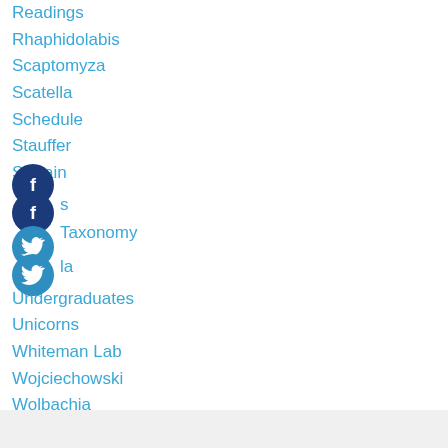Readings
Rhaphidolabis
Scaptomyza
Scatella
Schedule
Stauffer
Sylvain
Taxis
Taxonomy
Tigela
Undergraduates
Unicorns
Whiteman Lab
Wojciechowski
Wolbachia
Wyoming
Yeast And Fungi
RSS Feed